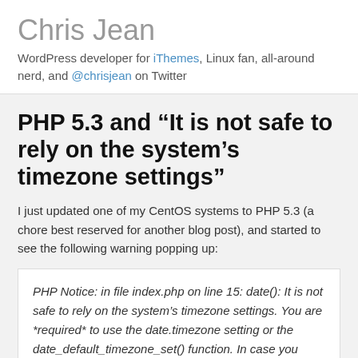Chris Jean
WordPress developer for iThemes, Linux fan, all-around nerd, and @chrisjean on Twitter
PHP 5.3 and “It is not safe to rely on the system’s timezone settings”
I just updated one of my CentOS systems to PHP 5.3 (a chore best reserved for another blog post), and started to see the following warning popping up:
PHP Notice: in file index.php on line 15: date(): It is not safe to rely on the system’s timezone settings. You are *required* to use the date.timezone setting or the date_default_timezone_set() function. In case you used any of those methods and you are still getting this warning, you